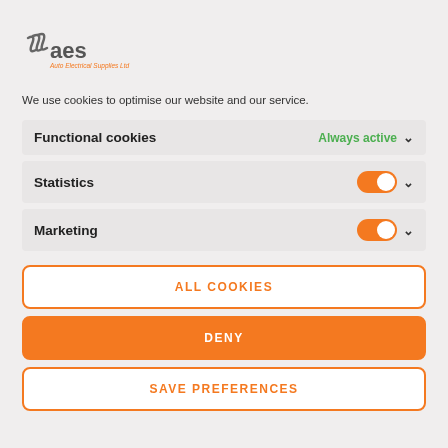[Figure (logo): AES Auto Electrical Supplies Ltd logo with stylized wave lines and orange/grey text]
We use cookies to optimise our website and our service.
Functional cookies — Always active
Statistics — Toggle on
Marketing — Toggle on
ALL COOKIES
DENY
SAVE PREFERENCES